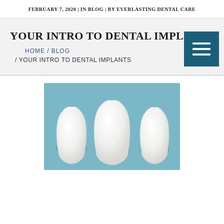FEBRUARY 7, 2020  |  IN BLOG  |  BY EVERLASTING DENTAL CARE
YOUR INTRO TO DENTAL IMPLANTS
HOME / BLOG / YOUR INTRO TO DENTAL IMPLANTS
[Figure (photo): Three white ceramic tooth models displayed against a light blue background]